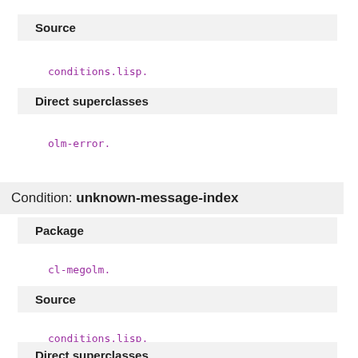Source
conditions.lisp.
Direct superclasses
olm-error.
Condition: unknown-message-index
Package
cl-megolm.
Source
conditions.lisp.
Direct superclasses